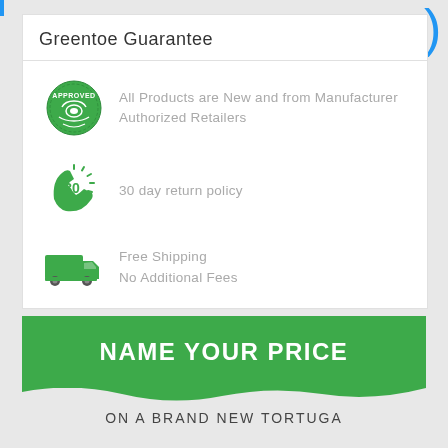Greentoe Guarantee
All Products are New and from Manufacturer Authorized Retailers
30 day return policy
Free Shipping
No Additional Fees
NAME YOUR PRICE
ON A BRAND NEW TORTUGA